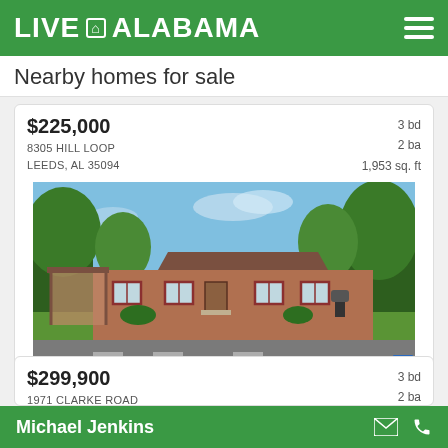LIVE IN ALABAMA
Nearby homes for sale
$225,000
8305 HILL LOOP
Leeds, AL 35094
3 bd  2 ba  1,953 sq. ft
[Figure (photo): Front exterior photo of a single-story brick ranch home with carport, red shutters, green lawn, and large shade trees at 8305 Hill Loop, Leeds, AL]
Courtesy: Keller Williams Homewood
$299,900
1971 CLARKE ROAD
Leeds, AL 35094
3 bd  2 ba  1,736 sq. ft
Michael Jenkins